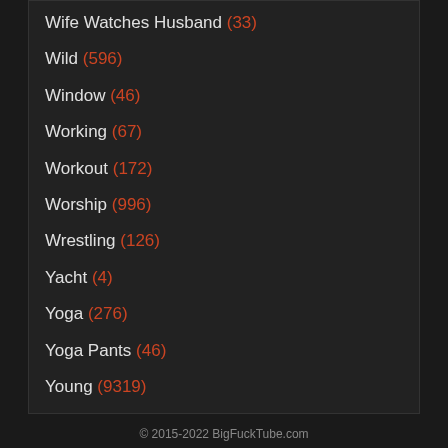Wife Watches Husband (33)
Wild (596)
Window (46)
Working (67)
Workout (172)
Worship (996)
Wrestling (126)
Yacht (4)
Yoga (276)
Yoga Pants (46)
Young (9319)
© 2015-2022 BigFuckTube.com